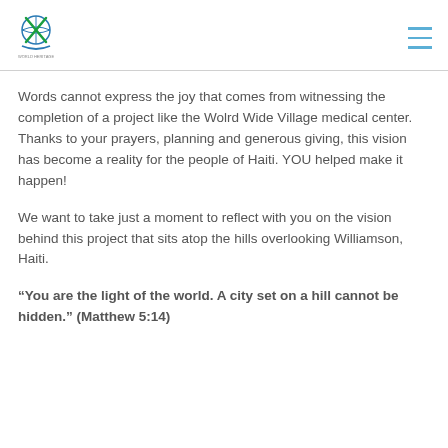World Heritage logo and navigation menu
Words cannot express the joy that comes from witnessing the completion of a project like the Wolrd Wide Village medical center. Thanks to your prayers, planning and generous giving, this vision has become a reality for the people of Haiti. YOU helped make it happen!
We want to take just a moment to reflect with you on the vision behind this project that sits atop the hills overlooking Williamson, Haiti.
“You are the light of the world. A city set on a hill cannot be hidden.” (Matthew 5:14)